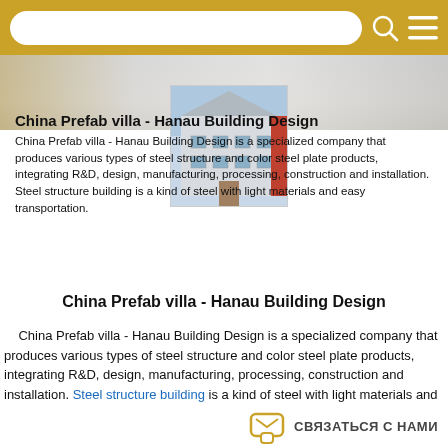[Figure (photo): Top banner image showing exterior of prefab steel structure building]
[Figure (photo): Photo of a prefab steel structure warehouse/villa building]
China Prefab villa - Hanau Building Design
China Prefab villa - Hanau Building Design is a specialized company that produces various types of steel structure and color steel plate products, integrating R&D, design, manufacturing, processing, construction and installation. Steel structure building is a kind of steel with light materials and easy transportation.
China Prefab villa - Hanau Building Design
China Prefab villa - Hanau Building Design is a specialized company that produces various types of steel structure and color steel plate products, integrating R&D, design, manufacturing, processing, construction and installation. Steel structure building is a kind of steel with light materials and easy transportation.
связаться с нами